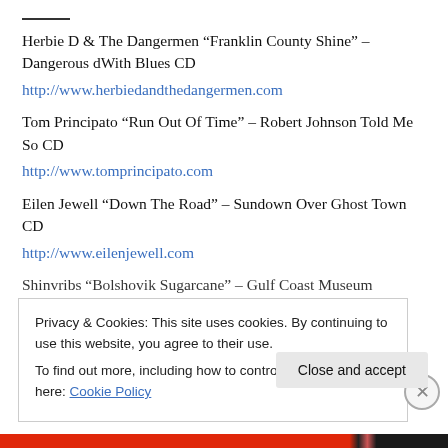Herbie D & The Dangermen “Franklin County Shine” – Dangerous dWith Blues CD
http://www.herbiedandthedangermen.com
Tom Principato “Run Out Of Time” – Robert Johnson Told Me So CD
http://www.tomprincipato.com
Eilen Jewell “Down The Road” – Sundown Over Ghost Town CD
http://www.eilenjewell.com
Shinvribs “Bolshovik Sugarcane” – Gulf Coast Museum
Privacy & Cookies: This site uses cookies. By continuing to use this website, you agree to their use. To find out more, including how to control cookies, see here: Cookie Policy